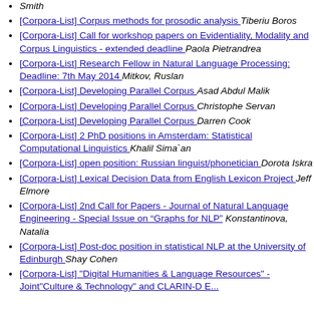Smith
[Corpora-List] Corpus methods for prosodic analysis  Tiberiu Boros
[Corpora-List] Call for workshop papers on Evidentiality, Modality and Corpus Linguistics - extended deadline  Paola Pietrandrea
[Corpora-List] Research Fellow in Natural Language Processing: Deadline: 7th May 2014  Mitkov, Ruslan
[Corpora-List] Developing Parallel Corpus  Asad Abdul Malik
[Corpora-List] Developing Parallel Corpus  Christophe Servan
[Corpora-List] Developing Parallel Corpus  Darren Cook
[Corpora-List] 2 PhD positions in Amsterdam: Statistical Computational Linguistics  Khalil Sima`an
[Corpora-List] open position: Russian linguist/phonetician  Dorota Iskra
[Corpora-List] Lexical Decision Data from English Lexicon Project  Jeff Elmore
[Corpora-List] 2nd Call for Papers - Journal of Natural Language Engineering - Special Issue on “Graphs for NLP”  Konstantinova, Natalia
[Corpora-List] Post-doc position in statistical NLP at the University of Edinburgh  Shay Cohen
[Corpora-List] "Digital Humanities & Language Resources" - Joint"Culture & Technology" and CLARIN-D E...